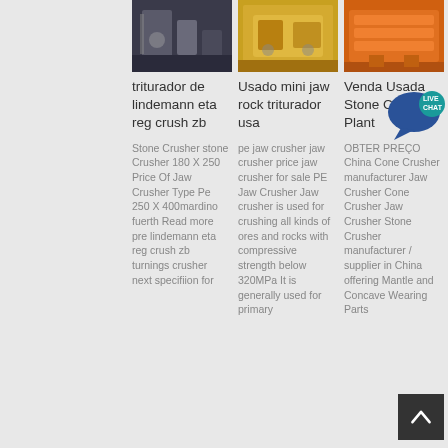[Figure (photo): Photo of industrial crushing/mining machinery (dark blue/metal tones)]
[Figure (photo): Photo of yellow jaw crusher machinery outdoors]
[Figure (photo): Photo of orange stone crusher plant equipment]
triturador de lindemann eta reg crush zb
Usado mini jaw rock triturador usa
Venda Usada Stone Crusher Plant
Stone Crusher stone Crusher 180 X 250 Price Of Jaw Crusher Type Pe 250 X 400mardino fuerth Read more pre lindemann eta reg crush zb turnings crusher next specifiion for
pe jaw crusher jaw crusher price jaw crusher for sale PE Jaw Crusher Jaw crusher is used for crushing all kinds of ores and rocks with compressive strength below 320MPa It is generally used for primary
OBTER PREÇO China Cone Crusher manufacturer Jaw Crusher Cone Crusher Jaw Crusher Stone Crusher manufacturer / supplier in China offering Mantle and Concave Wearing Parts
[Figure (illustration): Live Chat speech bubble icon in teal/dark blue]
[Figure (illustration): Back to top button arrow]